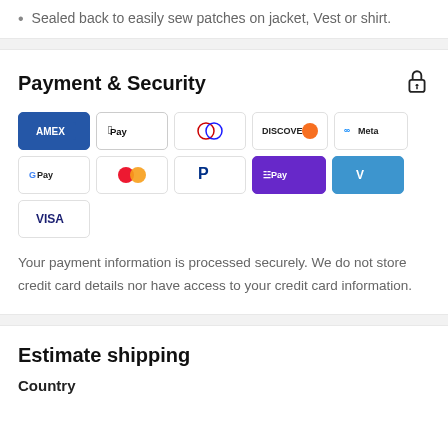Sealed back to easily sew patches on jacket, Vest or shirt.
Payment & Security
[Figure (infographic): Payment method logos: Amex, Apple Pay, Diners Club, Discover, Meta Pay, Google Pay, Mastercard, PayPal, Shop Pay, Venmo, Visa]
Your payment information is processed securely. We do not store credit card details nor have access to your credit card information.
Estimate shipping
Country